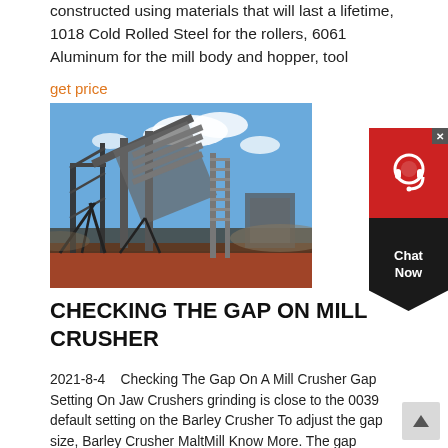constructed using materials that will last a lifetime, 1018 Cold Rolled Steel for the rollers, 6061 Aluminum for the mill body and hopper, tool
get price
[Figure (photo): Industrial mining conveyor and screening plant structure against a blue sky with scattered clouds, on a red-earth ground.]
[Figure (other): Chat Now widget with red headset icon on red/black background with close button]
CHECKING THE GAP ON MILL CRUSHER
2021-8-4    Checking The Gap On A Mill Crusher Gap Setting On Jaw Crushers grinding is close to the 0039 default setting on the Barley Crusher To adjust the gap size, Barley Crusher MaltMill Know More. The gap default setting is marked and set at .039 at assembly. Adjustment range is from .015 to .070 thousands of an